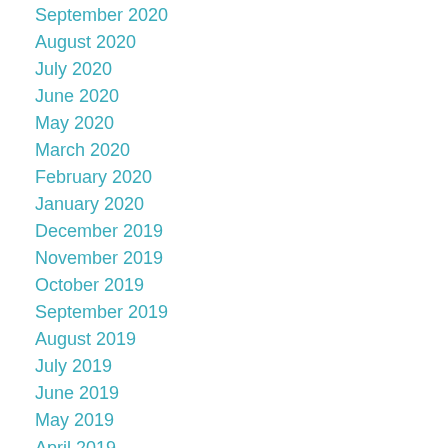September 2020
August 2020
July 2020
June 2020
May 2020
March 2020
February 2020
January 2020
December 2019
November 2019
October 2019
September 2019
August 2019
July 2019
June 2019
May 2019
April 2019
March 2019
February 2019
January 2019
December 2018
October 2018